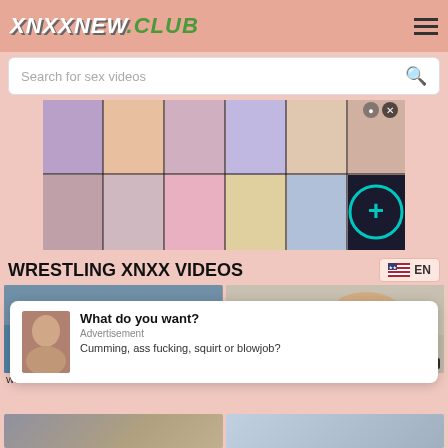XNXXNEW.CLUB
Search for sex videos
[Figure (illustration): Anime-style advertisement banner with multiple character thumbnails in a 6x2 grid, with a teal plus button in the bottom right cell]
WRESTLING XNXX VIDEOS
[Figure (screenshot): Video thumbnail showing two people wrestling, duration 8:56]
[Figure (screenshot): Video thumbnail showing wrestling scene, duration 10:14]
Wres...
What do you want?
Advertisement
Cumming, ass fucking, squirt or blowjob?
[Figure (screenshot): Bottom left partial video thumbnail]
[Figure (screenshot): Bottom right partial video thumbnail]